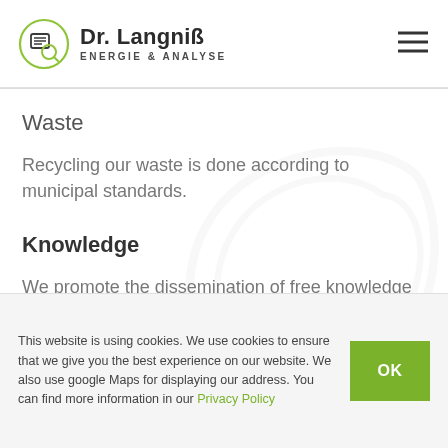[Figure (logo): Dr. Langniß Energie & Analyse logo with circular icon and text]
Waste
Recycling our waste is done according to municipal standards.
Knowledge
We promote the dissemination of free knowledge
This website is using cookies. We use cookies to ensure that we give you the best experience on our website. We also use google Maps for displaying our address. You can find more information in our Privacy Policy